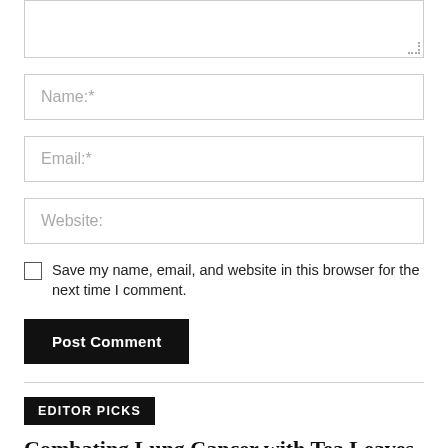[Figure (screenshot): Textarea input box (partially visible at top of page) with dotted resize handle at bottom-right corner]
Name:*
Email:*
Website:
Save my name, email, and website in this browser for the next time I comment.
Post Comment
EDITOR PICKS
Combating Lung Cancer with Tea Leaves